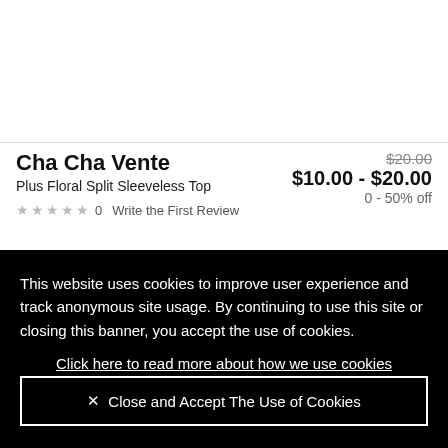[Figure (other): White blank top section of product page]
Cha Cha Vente
Plus Floral Split Sleeveless Top
$20.00  $10.00 - $20.00  0 - 50% off
★★★★★ 0   Write the First Review
This website uses cookies to improve user experience and track anonymous site usage. By continuing to use this site or closing this banner, you accept the use of cookies.
Click here to read more about how we use cookies
.
× Close and Accept The Use of Cookies